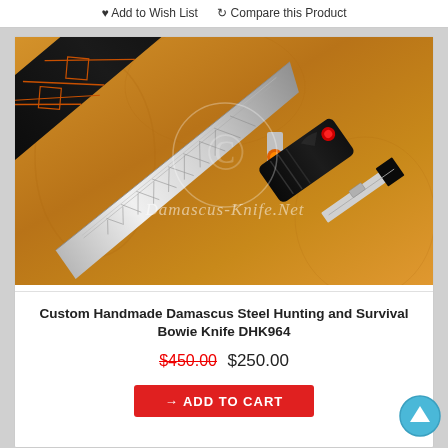♥ Add to Wish List  ⟳ Compare this Product
[Figure (photo): Damascus steel hunting and survival bowie knife DHK964 with feather-etched blade, black handle with red accent, shown with black leather sheath on orange leather background. Watermark: Damascus-Knife.Net]
Custom Handmade Damascus Steel Hunting and Survival Bowie Knife DHK964
$450.00  $250.00
ADD TO CART